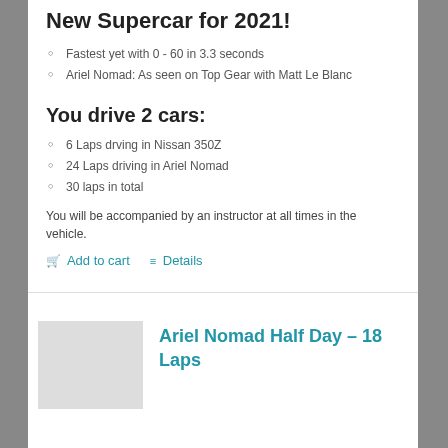New Supercar for 2021!
Fastest yet with 0 - 60 in 3.3 seconds
Ariel Nomad: As seen on Top Gear with Matt Le Blanc
You drive 2 cars:
6 Laps drving in Nissan 350Z
24 Laps driving in Ariel Nomad
30 laps in total
You will be accompanied by an instructor at all times in the vehicle.
Add to cart   Details
Ariel Nomad Half Day – 18 Laps